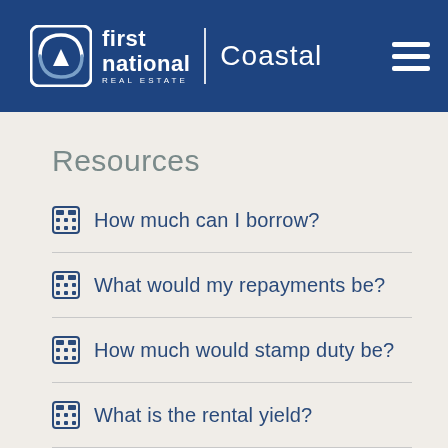[Figure (logo): First National Real Estate Coastal logo with hamburger menu on dark blue header background]
Resources
How much can I borrow?
What would my repayments be?
How much would stamp duty be?
What is the rental yield?